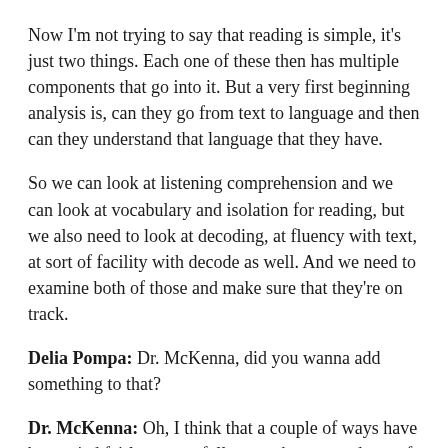Now I'm not trying to say that reading is simple, it's just two things. Each one of these then has multiple components that go into it. But a very first beginning analysis is, can they go from text to language and then can they understand that language that they have.
So we can look at listening comprehension and we can look at vocabulary and isolation for reading, but we also need to look at decoding, at fluency with text, at sort of facility with decode as well. And we need to examine both of those and make sure that they're on track.
Delia Pompa: Dr. McKenna, did you wanna add something to that?
Dr. McKenna: Oh, I think that a couple of ways have been tried fairly successfully over the past and one of them has been to go back to something Dr. Coleman said, is to contrast reading comprehension with listening comprehension where the heavy lifting of the